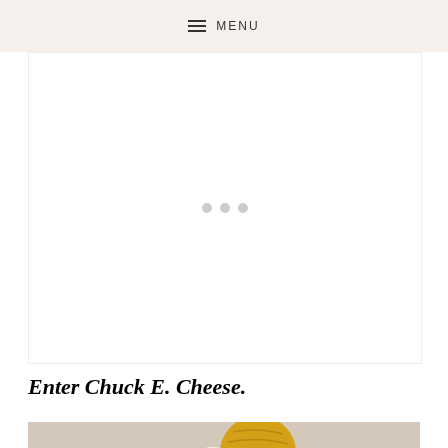MENU
[Figure (photo): Loading placeholder with three gray dots on white background]
Enter Chuck E. Cheese.
[Figure (photo): Photo showing a gold and white egg-shaped object or figure against a pinkish-beige background, partially cropped]